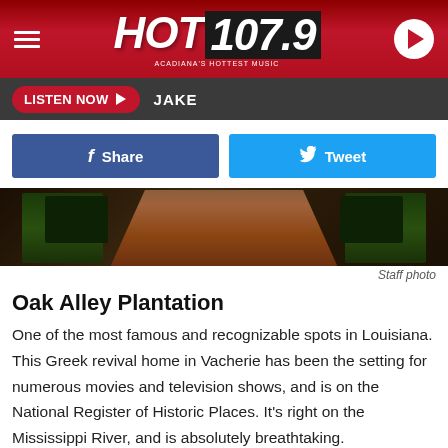[Figure (logo): HOT 107.9 radio station logo with hamburger menu and play button on dark red gradient header]
LISTEN NOW  JAKE
[Figure (other): Facebook Share button and Twitter Tweet button]
[Figure (photo): Oak Alley Plantation brick pathway lined with trees, aerial/ground view]
Staff photo
Oak Alley Plantation
One of the most famous and recognizable spots in Louisiana. This Greek revival home in Vacherie has been the setting for numerous movies and television shows, and is on the National Register of Historic Places. It's right on the Mississippi River, and is absolutely breathtaking.
[Figure (photo): Couple kissing outdoors among flowers and greenery at bottom of page]